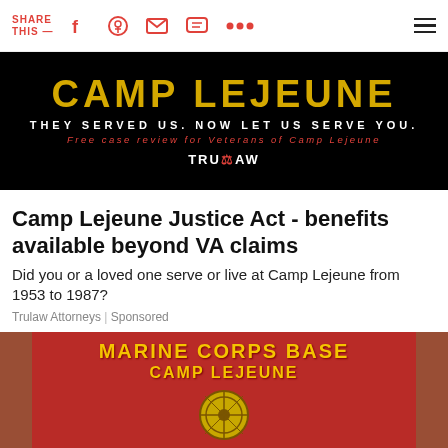SHARE THIS —
[Figure (photo): Camp Lejeune advertisement banner: dark background with gold text 'CAMP LEJEUNE', white text 'THEY SERVED US. NOW LET US SERVE YOU.', red italic text 'Free case review for Veterans of Camp Lejeune', and TruLaw logo]
Camp Lejeune Justice Act - benefits available beyond VA claims
Did you or a loved one serve or live at Camp Lejeune from 1953 to 1987?
Trulaw Attorneys | Sponsored
[Figure (photo): Marine Corps Base Camp Lejeune sign on a red background with brick pillars, showing the Marine Corps emblem and yellow/gold text reading 'MARINE CORPS BASE CAMP LEJEUNE']